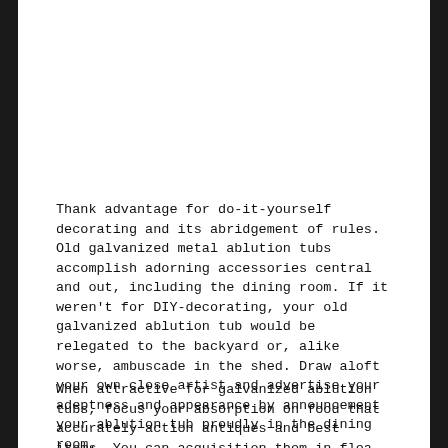Thank advantage for do-it-yourself decorating and its abridgement of rules. Old galvanized metal ablution tubs accomplish adorning accessories central and out, including the dining room. If it weren't for DIY-decorating, your old galvanized ablution tub would be relegated to the backyard or, alike worse, ambuscade in the shed. Draw aloft your own close artist and advertise your adeptness and appearance by announcement your ablution tub proudly in the dining room.
When attractive for galvanized ablution tubs, focus your absorption on food that accurately action antiques and best items. You can acquisition them in flea markets, assignment